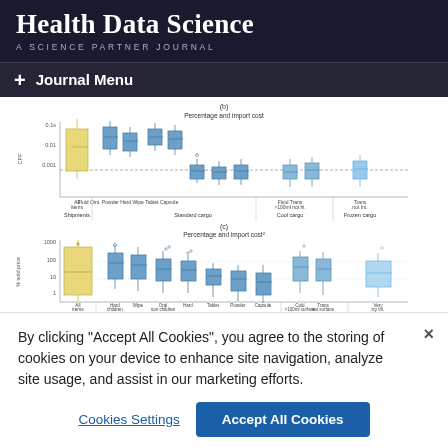Health Data Science
A SCIENCE PARTNER JOURNAL
+ Journal Menu
[Figure (other): Two box-and-whisker plots showing pharmaceutical cargo/shipment data. Top plot (b) shows CPF values on log scale for different cargo types (Shipments, Standard cargo, Cool cargo, Frozen cargo). Bottom plot shows % sold price on log scale for All items, Standard cargo categories (Hard, Liquid, Wipe, Oral, Hard tablet, Powder, Capsule), Cool cargo, and Frozen cargo categories.]
By clicking "Accept All Cookies", you agree to the storing of cookies on your device to enhance site navigation, analyze site usage, and assist in our marketing efforts.
Cookies Settings
Accept All Cookies